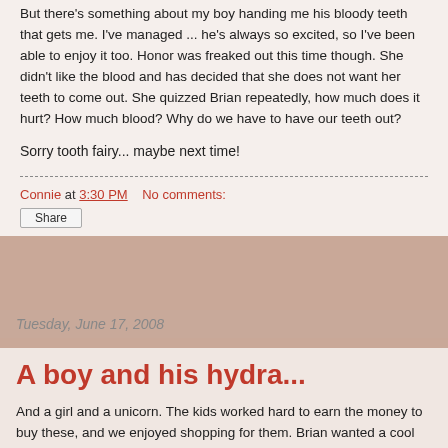But there's something about my boy handing me his bloody teeth that gets me. I've managed ... he's always so excited, so I've been able to enjoy it too. Honor was freaked out this time though. She didn't like the blood and has decided that she does not want her teeth to come out. She quizzed Brian repeatedly, how much does it hurt? How much blood? Why do we have to have our teeth out?
Sorry tooth fairy... maybe next time!
Connie at 3:30 PM   No comments:
Share
Tuesday, June 17, 2008
A boy and his hydra...
And a girl and a unicorn. The kids worked hard to earn the money to buy these, and we enjoyed shopping for them. Brian wanted a cool 'myth' creature. Honor needed something soft, cute and pink ... of course! I wasn't so sure of